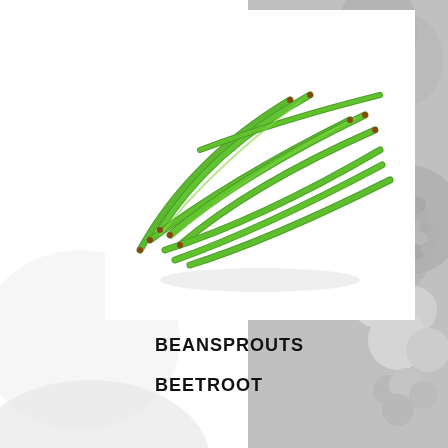[Figure (photo): Green beans / French beans piled on a white background, photographed from above at slight angle, vibrant green color]
BEANSPROUTS
BEETROOT
[Figure (photo): Fresh beetroots with stems, dark red/purple color, grouped together, photographed on white background]